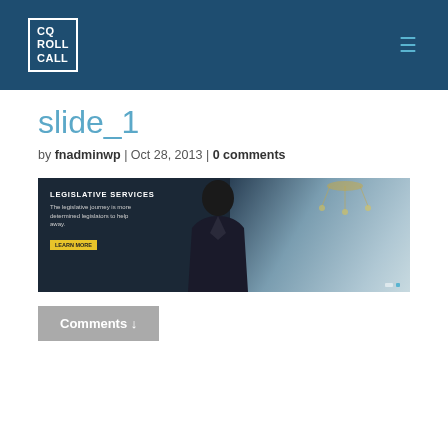CQ ROLL CALL
slide_1
by fnadminwp | Oct 28, 2013 | 0 comments
[Figure (screenshot): Screenshot of a legislative services webpage showing a person in a dark suit from behind, standing in an ornate room with a chandelier. Text overlay reads 'LEGISLATIVE SERVICES' with a yellow learn more button.]
Comments ↓